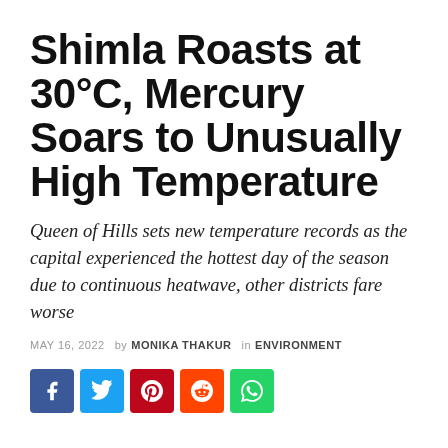Shimla Roasts at 30°C, Mercury Soars to Unusually High Temperature
Queen of Hills sets new temperature records as the capital experienced the hottest day of the season due to continuous heatwave, other districts fare worse
MAY 16, 2022 by MONIKA THAKUR in ENVIRONMENT
[Figure (infographic): Social share buttons: Facebook (blue), Twitter (light blue), Pinterest (red), Reddit (orange), WhatsApp (green)]